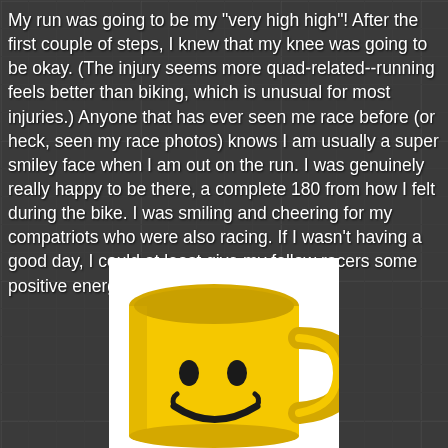My run was going to be my "very high high"! After the first couple of steps, I knew that my knee was going to be okay. (The injury seems more quad-related--running feels better than biking, which is unusual for most injuries.) Anyone that has ever seen me race before (or heck, seen my race photos) knows I am usually a super smiley face when I am out on the run. I was genuinely really happy to be there, a complete 180 from how I felt during the bike. I was smiling and cheering for my compatriots who were also racing. If I wasn't having a good day, I could at least give my fellow racers some positive energy!
[Figure (photo): A yellow smiley face coffee mug with a handle on the right side, showing two oval eyes and a curved smile, on a white background.]